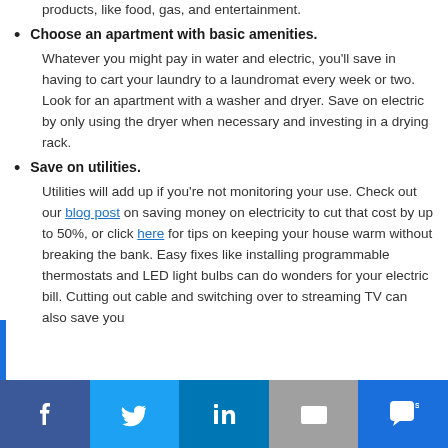products, like food, gas, and entertainment.
Choose an apartment with basic amenities. Whatever you might pay in water and electric, you'll save in having to cart your laundry to a laundromat every week or two. Look for an apartment with a washer and dryer. Save on electric by only using the dryer when necessary and investing in a drying rack.
Save on utilities. Utilities will add up if you're not monitoring your use. Check out our blog post on saving money on electricity to cut that cost by up to 50%, or click here for tips on keeping your house warm without breaking the bank. Easy fixes like installing programmable thermostats and LED light bulbs can do wonders for your electric bill. Cutting out cable and switching over to streaming TV can also save you